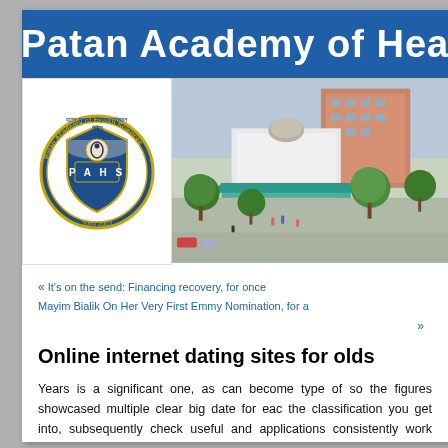Patan Academy of Hea
[Figure (logo): PAHS circular crest logo with Nepali text, shield design with P A H S letters, Patan Academy of Health Sciences]
[Figure (photo): Aerial/elevated view of Patan Academy of Health Sciences campus buildings and courtyard with trees and people]
« It's on the send: Financing recovery, for once
Mayim Bialik On Her Very First Emmy Nomination, for a
»
Online internet dating sites for olds
Years is a significant one, as can become type of so the figures showcased multiple clear big date for each the classification you get into, subsequently check useful and applications consistently work effectively f Tinder is one of prominent dating software in am certainly posses a pal just who found best of fact. R